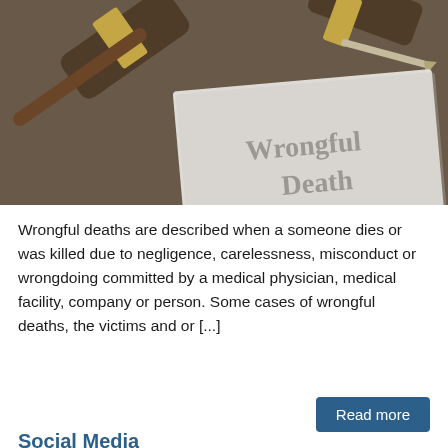[Figure (photo): Photo of a legal document titled 'Wrongful Death' with a judge's gavel in the background on a dark wooden surface.]
Wrongful deaths are described when a someone dies or was killed due to negligence, carelessness, misconduct or wrongdoing committed by a medical physician, medical facility, company or person. Some cases of wrongful deaths, the victims and or [...]
Read more
Social Media